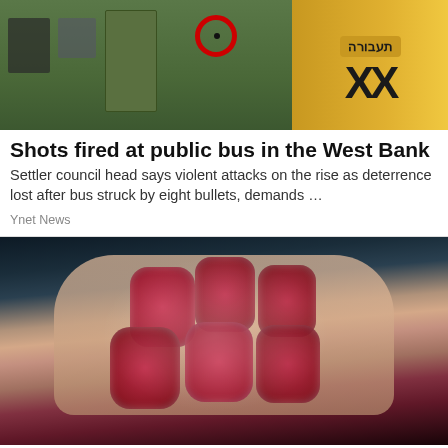[Figure (photo): Photo of a public bus in the West Bank with a bullet hole circled in red. Israeli text and yellow XX logo visible on right side.]
Shots fired at public bus in the West Bank
Settler council head says violent attacks on the rise as deterrence lost after bus struck by eight bullets, demands …
Ynet News
[Figure (photo): Close-up photo of a hand holding several red sugary gummy candies against a dark background.]
Banned For 84 Years; Powerful Pain Relie…